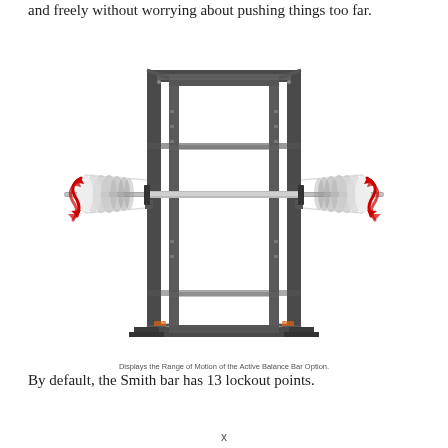and freely without worrying about pushing things too far.
[Figure (illustration): Smith machine power rack with a barbell showing the range of motion of the Active Balance Bar Option. Red curved arrows on each side of the barbell indicate the lateral movement range.]
Displays the Range of Motion of the Active Balance Bar Option.
By default, the Smith bar has 13 lockout points.
x